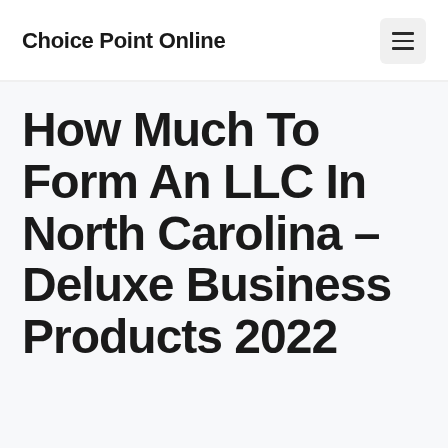Choice Point Online
How Much To Form An LLC In North Carolina – Deluxe Business Products 2022